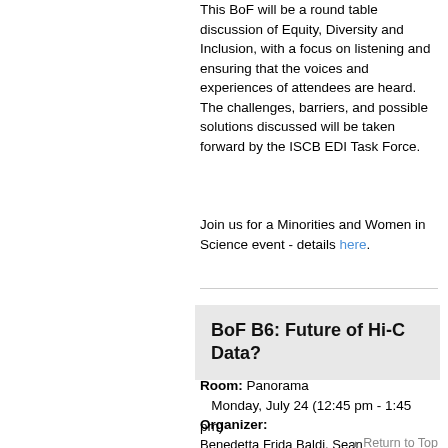This BoF will be a round table discussion of Equity, Diversity and Inclusion, with a focus on listening and ensuring that the voices and experiences of attendees are heard. The challenges, barriers, and possible solutions discussed will be taken forward by the ISCB EDI Task Force.
Join us for a Minorities and Women in Science event - details here.
BoF B6: Future of Hi-C Data?
Room: Panorama
   Monday, July 24 (12:45 pm - 1:45 pm)
Organizer:
Benedetta Frida Baldi, Sean O'Donoghue
The Garvan Institute of Medical Research UNSW, CSIRO
Return to Top